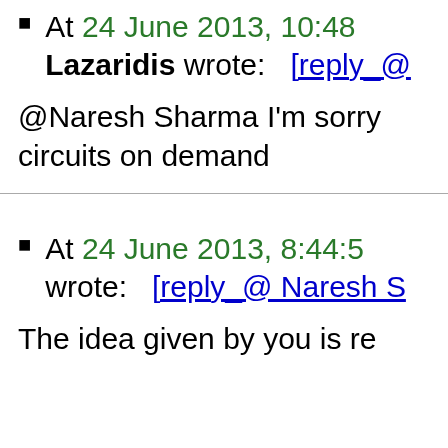At 24 June 2013, 10:48 Lazaridis wrote: [reply_@…
@Naresh Sharma I'm sorry circuits on demand
At 24 June 2013, 8:44:5 wrote: [reply_@ Naresh S…
The idea given by you is re…